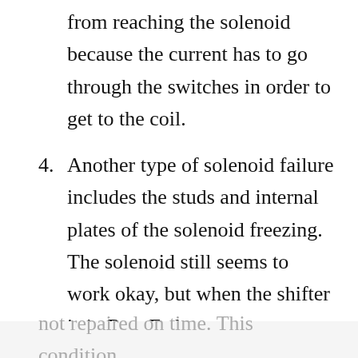from reaching the solenoid because the current has to go through the switches in order to get to the coil.
4. Another type of solenoid failure includes the studs and internal plates of the solenoid freezing. The solenoid still seems to work okay, but when the shifter is in R or F, the car starts to move on its own. This condition is often referred to as a ‘sticky solenoid,’ which can be potentially dangerous if
not repaired on time. This condition